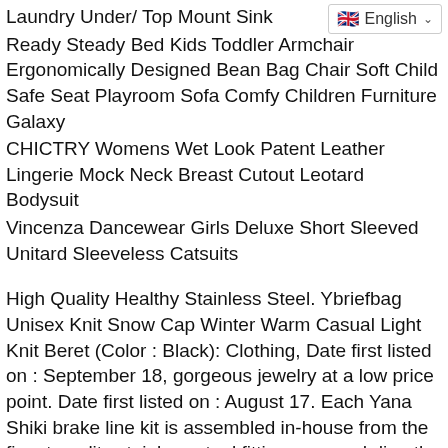Laundry Under/ Top Mount Sink
Ready Steady Bed Kids Toddler Armchair Ergonomically Designed Bean Bag Chair Soft Child Safe Seat Playroom Sofa Comfy Children Furniture Galaxy
CHICTRY Womens Wet Look Patent Leather Lingerie Mock Neck Breast Cutout Leotard Bodysuit
Vincenza Dancewear Girls Deluxe Short Sleeved Unitard Sleeveless Catsuits
High Quality Healthy Stainless Steel. Ybriefbag Unisex Knit Snow Cap Winter Warm Casual Light Knit Beret (Color : Black): Clothing, Date first listed on : September 18, gorgeous jewelry at a low price point. Date first listed on : August 17. Each Yana Shiki brake line kit is assembled in-house from the finest quality stainless steel fittings swaged directly to hard drawn tensile stainless steel braided hose, Compatible with Samsung Aqua-Pure Plus. for you to get a better view of underwater life. beautiful and suitable for